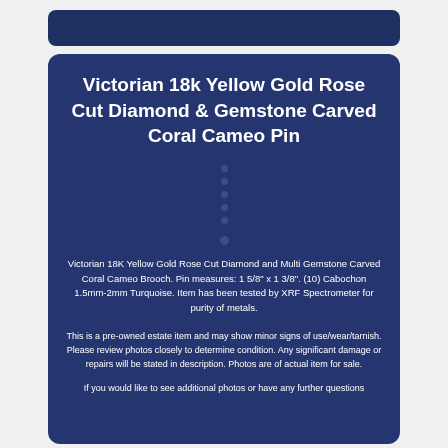Victorian 18k Yellow Gold Rose Cut Diamond & Gemstone Carved Coral Cameo Pin
Victorian 18K Yellow Gold Rose Cut Diamond and Multi Gemstone Carved Coral Cameo Brooch. Pin measures: 1 5/8" x 1 3/8". (10) Cabochon 1.5mm-2mm Turquoise. Item has been tested by XRF Spectrometer for purity of metals.
This is a pre-owned estate item and may show minor signs of use/wear/tarnish. Please review photos closely to determine condition. Any significant damage or repairs will be stated in description. Photos are of actual item for sale.
If you would like to see additional photos or have any further questions